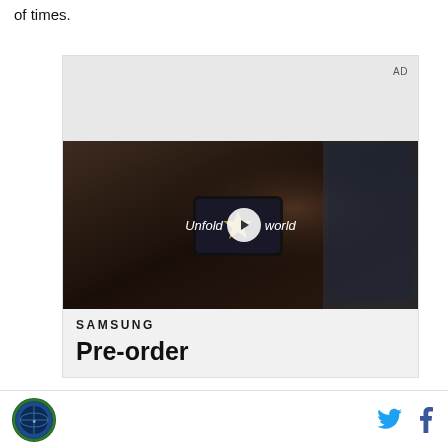of times.
[Figure (screenshot): Samsung advertisement with AD label, showing a video player with a woman holding a Samsung foldable phone, text overlay 'Unfold your world' with play button, Samsung logo, and Pre-order text below]
Footer with circular logo on left, Twitter and Facebook icons on right